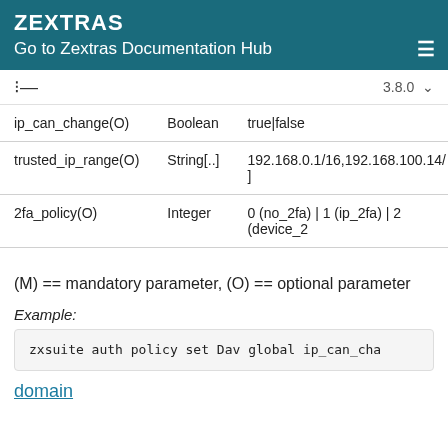ZEXTRAS
Go to Zextras Documentation Hub
| Parameter | Type | Values |
| --- | --- | --- |
| ip_can_change(O) | Boolean | true|false |
| trusted_ip_range(O) | String[..] | 192.168.0.1/16,192.168.100.14/...] |
| 2fa_policy(O) | Integer | 0 (no_2fa) | 1 (ip_2fa) | 2 (device_2... |
(M) == mandatory parameter, (O) == optional parameter
Example:
zxsuite auth policy set Dav global ip_can_cha
domain